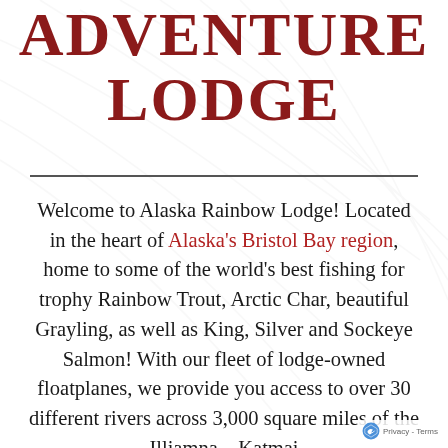ADVENTURE LODGE
Welcome to Alaska Rainbow Lodge! Located in the heart of Alaska's Bristol Bay region, home to some of the world's best fishing for trophy Rainbow Trout, Arctic Char, beautiful Grayling, as well as King, Silver and Sockeye Salmon! With our fleet of lodge-owned floatplanes, we provide you access to over 30 different rivers across 3,000 square miles of the Illiamna – Katmai